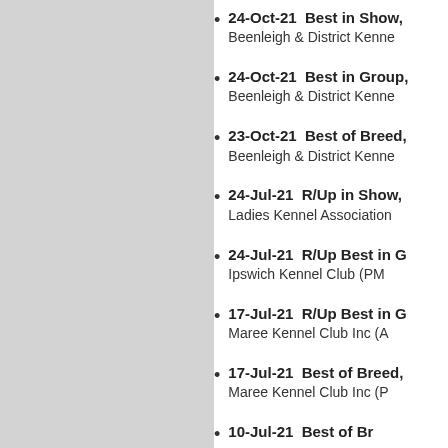24-Oct-21  Best in Show, Beenleigh & District Kenne
24-Oct-21  Best in Group, Beenleigh & District Kenne
23-Oct-21  Best of Breed, Beenleigh & District Kenne
24-Jul-21  R/Up in Show, Ladies Kennel Association
24-Jul-21  R/Up Best in C, Ipswich Kennel Club (PM
17-Jul-21  R/Up Best in C, Maree Kennel Club Inc (A
17-Jul-21  Best of Breed, Maree Kennel Club Inc (P
10-Jul-21  Best of Breed...